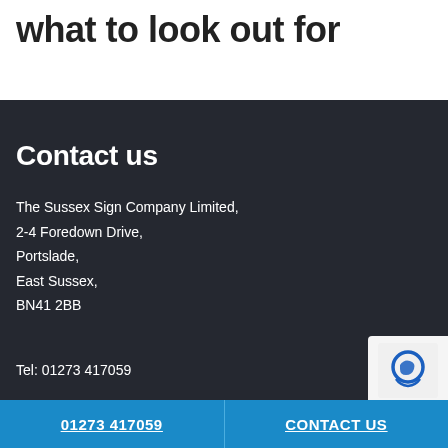what to look out for
Contact us
The Sussex Sign Company Limited,
2-4 Foredown Drive,
Portslade,
East Sussex,
BN41 2BB
Tel: 01273 417059
01273 417059    CONTACT US